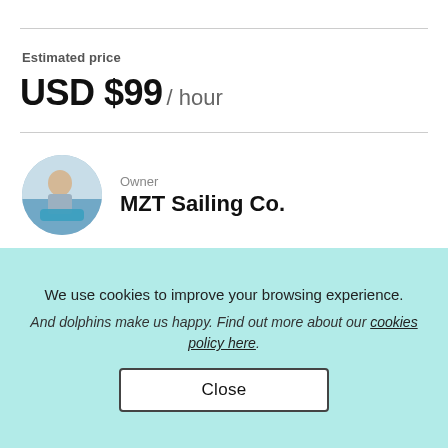Estimated price
USD $99 / hour
Owner
MZT Sailing Co.
[Figure (photo): Circular avatar photo of a person on a boat/water, used as owner profile picture for MZT Sailing Co.]
*** PRIVATE DAY SAILER ***
4 HR ALL INCLUSIVE SAILING TOURS
We use cookies to improve your browsing experience.
And dolphins make us happy. Find out more about our cookies policy here.
Close